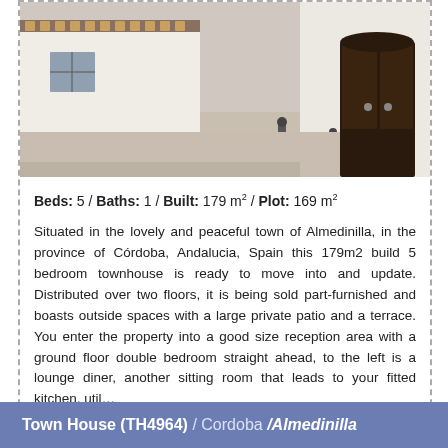[Figure (photo): Exterior photo of a white Spanish townhouse with ornate tiled decorations above the entrance, a large dark wooden door, and a cobblestone courtyard. Taken from street level looking toward the entrance.]
Beds: 5 / Baths: 1 / Built: 179 m² / Plot: 169 m²
Situated in the lovely and peaceful town of Almedinilla, in the province of Córdoba, Andalucia, Spain this 179m2 build 5 bedroom townhouse is ready to move into and update. Distributed over two floors, it is being sold part-furnished and boasts outside spaces with a large private patio and a terrace. You enter the property into a good size reception area with a ground floor double bedroom straight ahead, to the left is a lounge diner, another sitting room that leads to your fitted kitchen, util…
More Info >>
Town House (TH4964) / Cordoba /Almedinilla